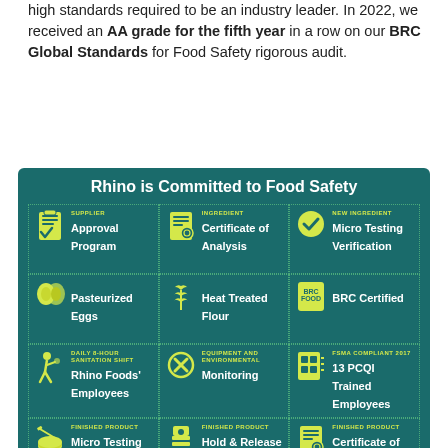high standards required to be an industry leader. In 2022, we received an AA grade for the fifth year in a row on our BRC Global Standards for Food Safety rigorous audit.
[Figure (infographic): Infographic titled 'Rhino is Committed to Food Safety' on a teal background with a 4x3 grid of food safety program items: Supplier Approval Program, Ingredient Certificate of Analysis, New Ingredient Micro Testing Verification, Pasteurized Eggs, Heat Treated Flour, BRC Certified, Daily 8-Hour Sanitation Shift Rhino Foods' Employees, Equipment and Environmental Monitoring, FSMA Compliant 2017 13 PCQI Trained Employees, Finished Product Micro Testing, Finished Product Hold & Release Program, Finished Product Certificate of Analysis. Each item has a yellow icon on a teal background.]